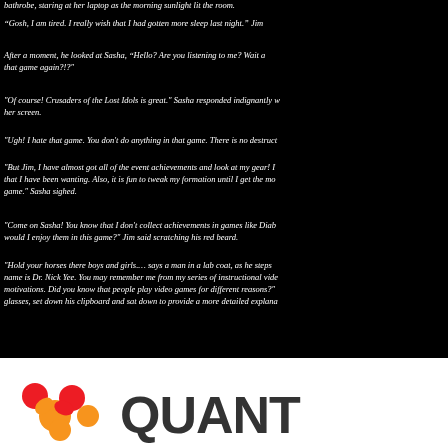bathrobe, staring at her laptop as the morning sunlight lit the room.
“Gosh, I am tired. I really wish that I had gotten more sleep last night.” Jim
After a moment, he looked at Sasha, “Hello? Are you listening to me? Wait a that game again?!?"
"Of course! Crusaders of the Lost Idols is great." Sasha responded indignantly v her screen.
"Ugh! I hate that game. You don't do anything in that game. There is no destruct
"But Jim, I have almost got all of the event achievements and look at my gear! I that I have been wanting. Also, it is fun to tweak my formation until I get the mo game." Sasha sighed.
"Come on Sasha! You know that I don't collect achievements in games like Diab would I enjoy them in this game?" Jim said scratching his red beard.
"Hold your horses there boys and girls.… says a man in a lab coat, as he steps name is Dr. Nick Yee. You may remember me from my series of instructional vide motivations. Did you know that people play video games for different reasons?" glasses, set down his clipboard and sat down to provide a more detailed explana
[Figure (logo): Quantic logo with colored molecule-like symbol on white background, partial view showing QUANT text]